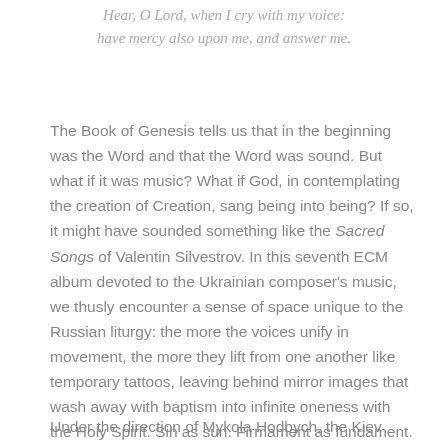Hear, O Lord, when I cry with my voice:
have mercy also upon me, and answer me.
The Book of Genesis tells us that in the beginning was the Word and that the Word was sound. But what if it was music? What if God, in contemplating the creation of Creation, sang being into being? If so, it might have sounded something like the Sacred Songs of Valentin Silvestrov. In this seventh ECM album devoted to the Ukrainian composer's music, we thusly encounter a sense of space unique to the Russian liturgy: the more the voices unify in movement, the more they lift from one another like temporary tattoos, leaving behind mirror images that wash away with baptism into infinite oneness with the Holy Spirit. Sin as sun. Firmament as fundament.
Under the direction of Mykola Hodbych, the Kiev